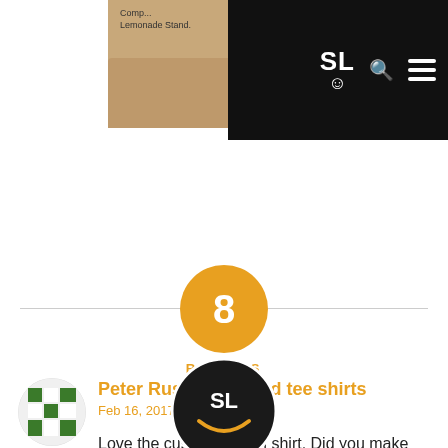[Figure (screenshot): Top navigation bar with two photo thumbnails on the left (one showing text 'Lemonade Stand') and a black nav bar on the right with 'SL' logo, smiley icon, search icon, and hamburger menu]
8
REPLIES
[Figure (illustration): Green mosaic/puzzle avatar icon for user Peter Rush]
Peter Rush @ printed tee shirts
Feb 16, 2017 at 12:04 am
Love the custom design shirt. Did you make the idea on your own? seems the image on it is perfect for those who bullied a lot. Great job
[Figure (logo): SL smiley face logo watermark overlaid on the comment text]